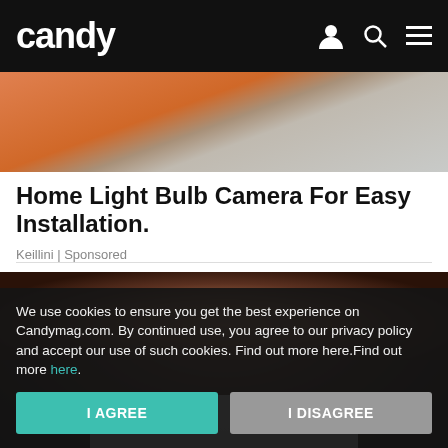candy
[Figure (photo): Top portion of a photo showing hands holding tools and electrical components]
Home Light Bulb Camera For Easy Installation.
Keillini | Sponsored
[Figure (photo): Close-up photo of a man's lower face showing stubble beard and teeth]
Read on App
We use cookies to ensure you get the best experience on Candymag.com. By continued use, you agree to our privacy policy and accept our use of such cookies. Find out more here.Find out more here.
I AGREE
I DISAGREE